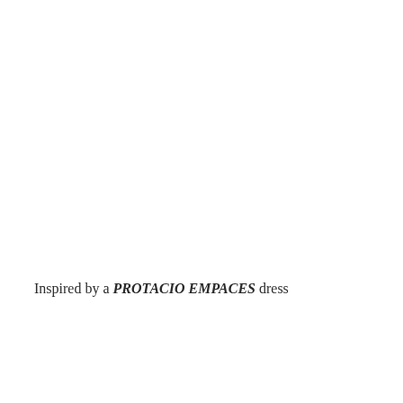Inspired by a PROTACIO EMPACES dress